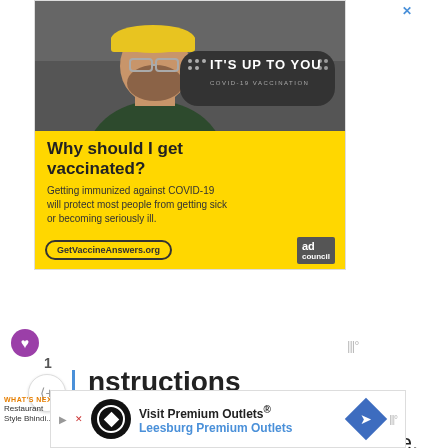[Figure (photo): COVID-19 vaccination advertisement banner. Top half shows a bearded man in yellow hard hat and safety glasses. Bottom half has yellow background with text: Why should I get vaccinated? Getting immunized against COVID-19 will protect most people from getting sick or becoming seriously ill. URL: GetVaccineAnswers.org. Ad Council logo.]
1
Instructions
WHAT'S NEXT → Restaurant Style Bhindi...
together fresh coconut, tamarind nd dry red chili to a smooth paste, adding ½ c of water.
[Figure (photo): Bottom advertisement: Visit Premium Outlets® Leesburg Premium Outlets with logo and navigation arrow icon.]